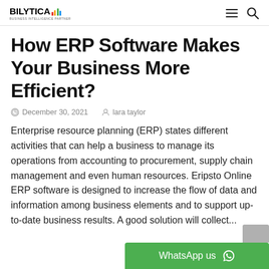BILYTICA [logo with bar chart icons] [hamburger menu] [search icon]
How ERP Software Makes Your Business More Efficient?
December 30, 2021   lara taylor
Enterprise resource planning (ERP) states different activities that can help a business to manage its operations from accounting to procurement, supply chain management and even human resources. Eripsto Online ERP software is designed to increase the flow of data and information among business elements and to support up-to-date business results. A good solution will collect...
WhatsApp us